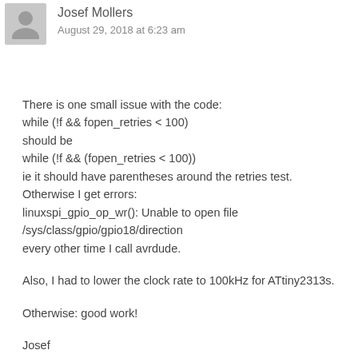Josef Mollers
August 29, 2018 at 6:23 am
There is one small issue with the code:
while (!f && fopen_retries < 100)
should be
while (!f && (fopen_retries < 100))
ie it should have parentheses around the retries test.
Otherwise I get errors:
linuxspi_gpio_op_wr(): Unable to open file /sys/class/gpio/gpio18/direction
every other time I call avrdude.
Also, I had to lower the clock rate to 100kHz for ATtiny2313s.
Otherwise: good work!
Josef